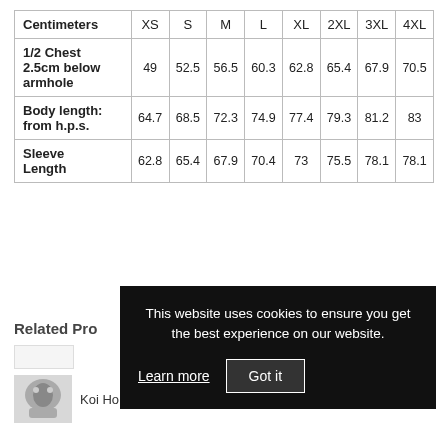| Centimeters | XS | S | M | L | XL | 2XL | 3XL | 4XL |
| --- | --- | --- | --- | --- | --- | --- | --- | --- |
| 1/2 Chest 2.5cm below armhole | 49 | 52.5 | 56.5 | 60.3 | 62.8 | 65.4 | 67.9 | 70.5 |
| Body length: from h.p.s. | 64.7 | 68.5 | 72.3 | 74.9 | 77.4 | 79.3 | 81.2 | 83 |
| Sleeve Length | 62.8 | 65.4 | 67.9 | 70.4 | 73 | 75.5 | 78.1 | 78.1 |
Related Pro
[Figure (photo): Product thumbnail - Koi Ho hoodie]
Koi Ho
This website uses cookies to ensure you get the best experience on our website.
Learn more
Got it